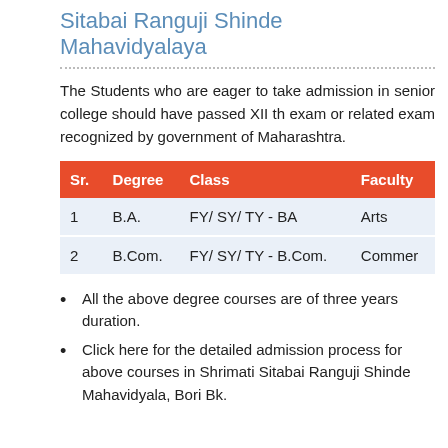Sitabai Ranguji Shinde Mahavidyalaya
The Students who are eager to take admission in senior college should have passed XII th exam or related exam recognized by government of Maharashtra.
| Sr. | Degree | Class | Faculty |
| --- | --- | --- | --- |
| 1 | B.A. | FY/ SY/ TY - BA | Arts |
| 2 | B.Com. | FY/ SY/ TY - B.Com. | Commerce |
All the above degree courses are of three years duration.
Click here for the detailed admission process for above courses in Shrimati Sitabai Ranguji Shinde Mahavidyala, Bori Bk.